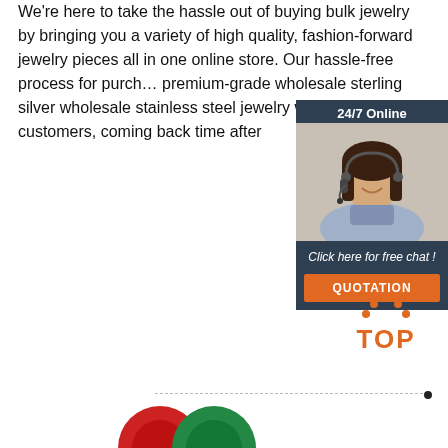We're here to take the hassle out of buying bulk jewelry by bringing you a variety of high quality, fashion-forward jewelry pieces all in one online store. Our hassle-free process for purchasing premium-grade wholesale sterling silver wholesale stainless steel jewelry will keep your customers, coming back time after
[Figure (other): Customer service representative with headset, 24/7 Online chat widget with 'Click here for free chat!' text and QUOTATION button]
Get Price
[Figure (other): TOP badge with orange dots above the letters, scroll-to-top button]